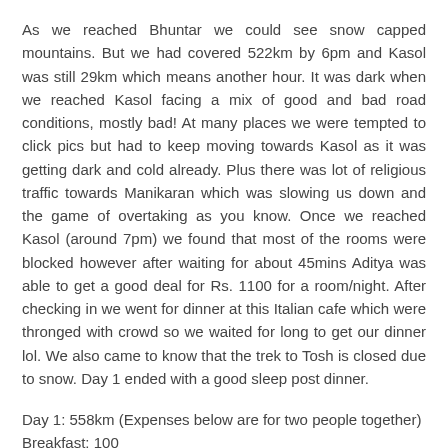As we reached Bhuntar we could see snow capped mountains. But we had covered 522km by 6pm and Kasol was still 29km which means another hour. It was dark when we reached Kasol facing a mix of good and bad road conditions, mostly bad! At many places we were tempted to click pics but had to keep moving towards Kasol as it was getting dark and cold already. Plus there was lot of religious traffic towards Manikaran which was slowing us down and the game of overtaking as you know. Once we reached Kasol (around 7pm) we found that most of the rooms were blocked however after waiting for about 45mins Aditya was able to get a good deal for Rs. 1100 for a room/night. After checking in we went for dinner at this Italian cafe which were thronged with crowd so we waited for long to get our dinner lol. We also came to know that the trek to Tosh is closed due to snow. Day 1 ended with a good sleep post dinner.
Day 1: 558km (Expenses below are for two people together)
Breakfast: 100
Petrol: Rs. 1990
Tea: 25
Chain tight: 20